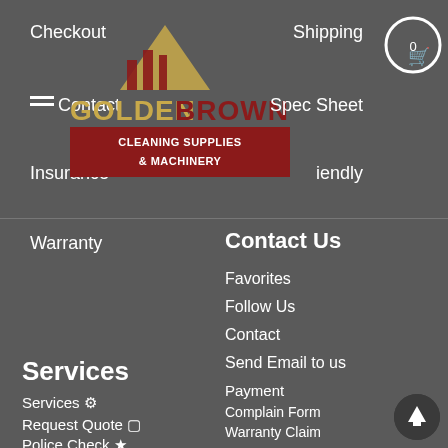Checkout
Contact
Insurance
Warranty
[Figure (logo): Golden Brown Cleaning Supplies & Machinery logo with gold and red colors, triangular icon]
Shipping
Spec Sheet
Eco Friendly
Contact Us
Favorites
Follow Us
Contact
Send Email to us
Payment
Complain Form
Warranty Claim
Services
Services ⚙
Request Quote 🖥
Police Check ★
Products
Catalogue
Brochure 📄
Subscription 👤